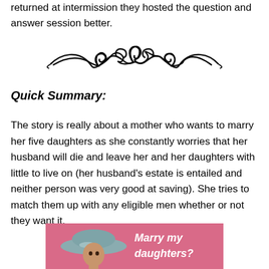returned at intermission they hosted the question and answer session better.
[Figure (illustration): Decorative ornamental divider with swirling flourish design in black]
Quick Summary:
The story is really about a mother who wants to marry her five daughters as she constantly worries that her husband will die and leave her and her daughters with little to live on (her husband's estate is entailed and neither person was very good at saving). She tries to match them up with any eligible men whether or not they want it.
[Figure (photo): Pink background image showing a woman wearing a large decorative hat with text overlay reading 'Marry my daughters?']